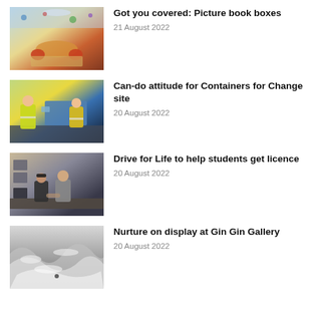[Figure (photo): Children's library reading area with colourful chairs and carpet]
Got you covered: Picture book boxes
21 August 2022
[Figure (photo): Two workers in hi-vis vests standing in front of a Containers for Change depot]
Can-do attitude for Containers for Change site
20 August 2022
[Figure (photo): Two men shaking hands in an office environment]
Drive for Life to help students get licence
20 August 2022
[Figure (photo): Black and white photo of ocean waves crashing]
Nurture on display at Gin Gin Gallery
20 August 2022